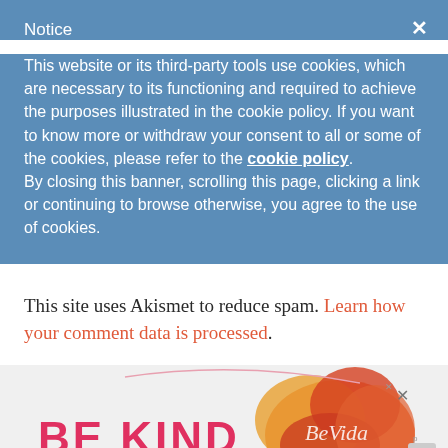Notice
This website or its third-party tools use cookies, which are necessary to its functioning and required to achieve the purposes illustrated in the cookie policy. If you want to know more or withdraw your consent to all or some of the cookies, please refer to the cookie policy. By closing this banner, scrolling this page, clicking a link or continuing to browse otherwise, you agree to the use of cookies.
This site uses Akismet to reduce spam. Learn how your comment data is processed.
[Figure (illustration): Advertisement banner with 'BE KIND' text in red/pink bold letters, decorative floral illustration on the right side, and a small close/X button in the corner with a 'w' logo]